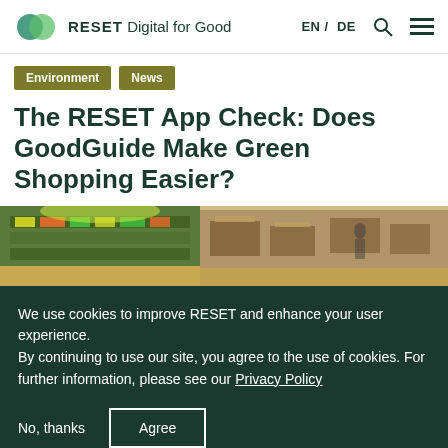RESET Digital for Good | EN / DE
Environment
News
The RESET App Check: Does GoodGuide Make Green Shopping Easier?
[Figure (photo): Interior of a grocery store with green produce shelves and shoppers]
We use cookies to improve RESET and enhance your user experience.
By continuing to use our site, you agree to the use of cookies. For further information, please see our Privacy Policy
No, thanks | Agree